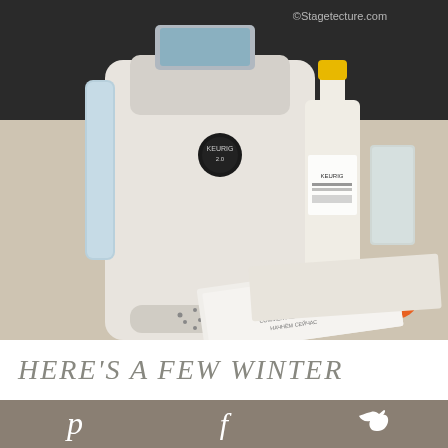[Figure (photo): A white Keurig 2.0 coffee maker sitting on a light speckled countertop, with a bottle of Keurig descaling solution, a clear drinking glass, an orange accessory piece, and a 'Let's Get Started' instruction booklet nearby. A watermark reads '©Stagetecture.com' in the upper right.]
HERE'S A FEW WINTER
Pinterest  Facebook  Twitter